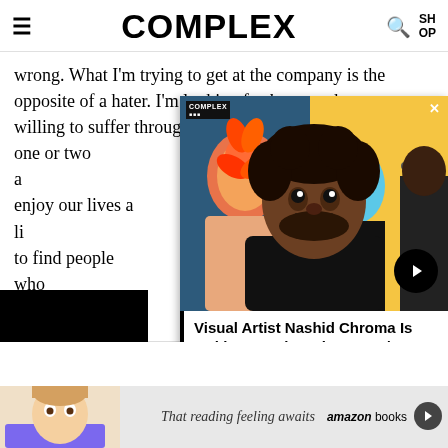COMPLEX
wrong. What I'm trying to get at the company is the opposite of a hater. I'm looking for lovers, who are willing to suffer through the nine losses to get to those one or two a... enjoy our lives a li... to find people who... through the anxie... glorious act. It mea...
[Figure (photo): Video thumbnail showing a smiling man with curly hair in front of colorful artworks, with a right-arrow play button]
Visual Artist Nashid Chroma Is Making Art That Blossoms | Northern Clutch
[Figure (photo): Advertisement banner showing a woman reading a book with text 'That reading feeling awaits' and 'amazon books']